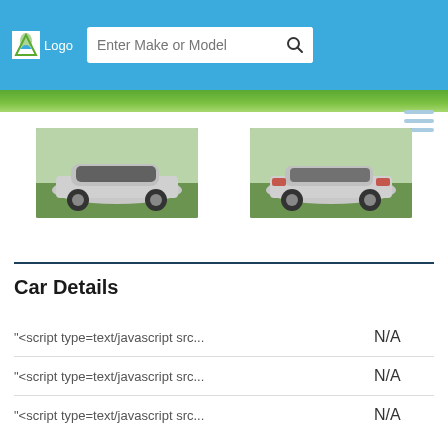[Figure (screenshot): Website header with logo placeholder showing a green leaf icon and 'Logo' text, a search bar with placeholder 'Enter Make or Model', and a search button with magnifying glass icon, all on a blue background]
[Figure (photo): Silver sedan car (front 3/4 view) parked on grass with trees in background]
[Figure (photo): Silver sedan car (rear 3/4 view) parked on grass with trees in background]
Car Details
| Label | Value |
| --- | --- |
| "<script type=text/javascript src... | N/A |
| "<script type=text/javascript src... | N/A |
| "<script type=text/javascript src... | N/A |